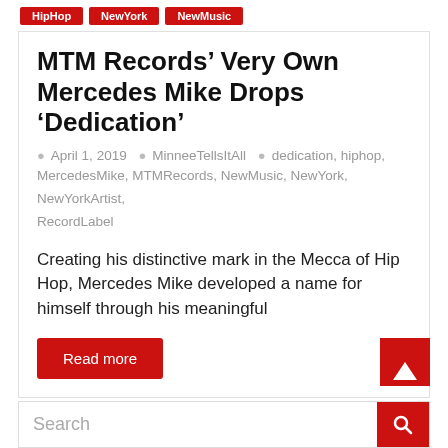HipHop | NewYork | NewMusic
MTM Records’ Very Own Mercedes Mike Drops ‘Dedication’
April 1, 2019  MinneeTellsItAll  dedication, hiphop, MercedesMike, MTMRecords, NewMusic, NewYork, NewYorkArtist, RecordLabel
Creating his distinctive mark in the Mecca of Hip Hop, Mercedes Mike developed a name for himself through his meaningful
Read more
← Previous
Search